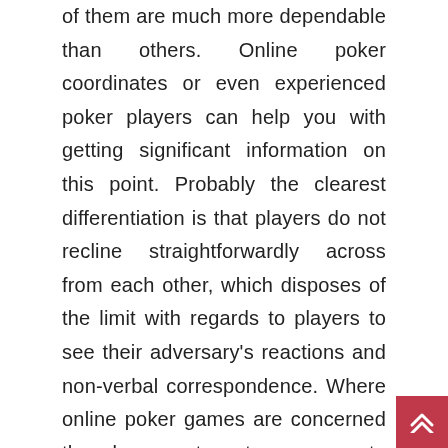of them are much more dependable than others. Online poker coordinates or even experienced poker players can help you with getting significant information on this point. Probably the clearest differentiation is that players do not recline straightforwardly across from each other, which disposes of the limit with regards to players to see their adversary's reactions and non-verbal correspondence. Where online poker games are concerned the player sorts out some way to focus in extra on the betting plans, the other player's reaction times similarly as whatever different principles of direct which are not physical in nature. As the round of poker requires a person to change a productive online player will sort out some way to overwhelm their new ecological factors quickly and click here